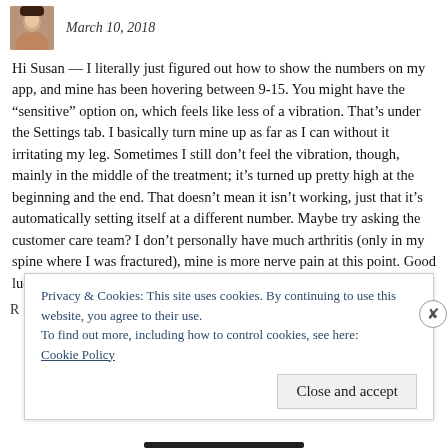[Figure (photo): Small square avatar photo of a woman]
March 10, 2018
Hi Susan — I literally just figured out how to show the numbers on my app, and mine has been hovering between 9-15. You might have the “sensitive” option on, which feels like less of a vibration. That’s under the Settings tab. I basically turn mine up as far as I can without it irritating my leg. Sometimes I still don’t feel the vibration, though, mainly in the middle of the treatment; it’s turned up pretty high at the beginning and the end. That doesn’t mean it isn’t working, just that it’s automatically setting itself at a different number. Maybe try asking the customer care team? I don’t personally have much arthritis (only in my spine where I was fractured), mine is more nerve pain at this point. Good luck!
Privacy & Cookies: This site uses cookies. By continuing to use this website, you agree to their use.
To find out more, including how to control cookies, see here:
Cookie Policy
Close and accept